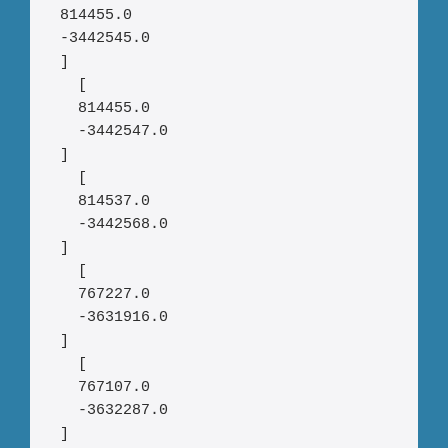814455.0
-3442545.0
]
[
814455.0
-3442547.0
]
[
814537.0
-3442568.0
]
[
767227.0
-3631916.0
]
[
767107.0
-3632287.0
]